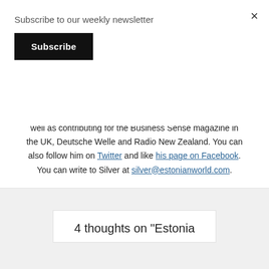Subscribe to our weekly newsletter
Subscribe
of Tartu, and politics and society at the Birkbeck College, University of London. Silver has been the editor at the Estonian Public Broadcasting’s news service in English, as well as contributing for the Business Sense magazine in the UK, Deutsche Welle and Radio New Zealand. You can also follow him on Twitter and like his page on Facebook. You can write to Silver at silver@estonianworld.com.
4 thoughts on “Estonia